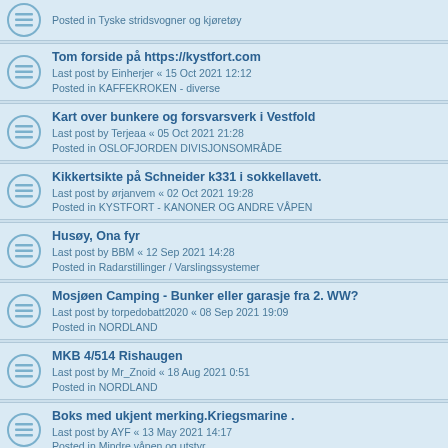Posted in Tyske stridsvogner og kjøretøy
Tom forside på https://kystfort.com
Last post by Einherjer « 15 Oct 2021 12:12
Posted in KAFFEKROKEN - diverse
Kart over bunkere og forsvarsverk i Vestfold
Last post by Terjeaa « 05 Oct 2021 21:28
Posted in OSLOFJORDEN DIVISJONSOMRÅDE
Kikkertsikte på Schneider k331 i sokkellavett.
Last post by ørjanvem « 02 Oct 2021 19:28
Posted in KYSTFORT - KANONER OG ANDRE VÅPEN
Husøy, Ona fyr
Last post by BBM « 12 Sep 2021 14:28
Posted in Radarstillinger / Varslingssystemer
Mosjøen Camping - Bunker eller garasje fra 2. WW?
Last post by torpedobatt2020 « 08 Sep 2021 19:09
Posted in NORDLAND
MKB 4/514 Rishaugen
Last post by Mr_Znoid « 18 Aug 2021 0:51
Posted in NORDLAND
Boks med ukjent merking.Kriegsmarine .
Last post by AYF « 13 May 2021 14:17
Posted in Mindre våpen og utstyr
Støttepunktet på Volsdalsberga
Last post by Jokeren2 « 09 May 2021 19:34
Posted in MØRE OG ROMSDAL